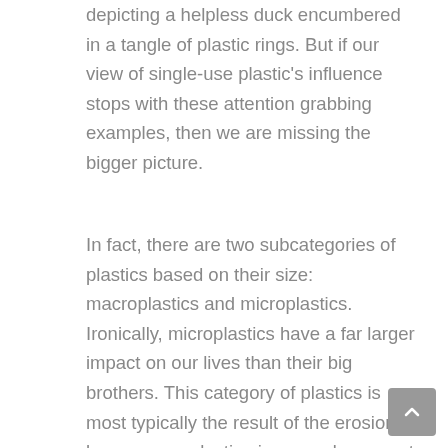depicting a helpless duck encumbered in a tangle of plastic rings. But if our view of single-use plastic's influence stops with these attention grabbing examples, then we are missing the bigger picture.
In fact, there are two subcategories of plastics based on their size: macroplastics and microplastics. Ironically, microplastics have a far larger impact on our lives than their big brothers. This category of plastics is most typically the result of the erosion of larger macroplastic pieces and are most often invisible to the naked eye. Nearly every environment on the globe is burdened with little bits of plastic, which have been found in the depths of the Mariana Trench, on the most secluded peaks of the Pyrenees Mountains, in our soil, and even in the air we breathe. What's most concerning about the